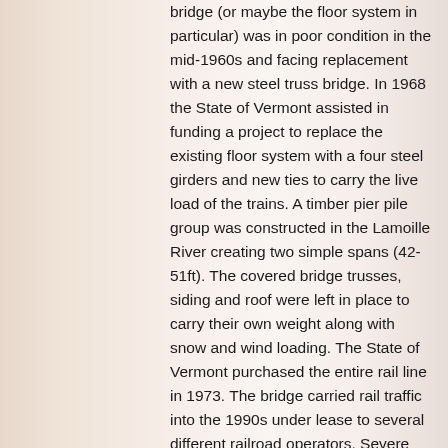bridge (or maybe the floor system in particular) was in poor condition in the mid-1960s and facing replacement with a new steel truss bridge. In 1968 the State of Vermont assisted in funding a project to replace the existing floor system with a four steel girders and new ties to carry the live load of the trains. A timber pier pile group was constructed in the Lamoille River creating two simple spans (42-51ft). The covered bridge trusses, siding and roof were left in place to carry their own weight along with snow and wind loading. The State of Vermont purchased the entire rail line in 1973. The bridge carried rail traffic into the 1990s under lease to several different railroad operators. Severe flooding in 1995 and 1997 damaged much of the line such that it was not profitable to repair for rail traffic. In 2002 the State of Vermont let